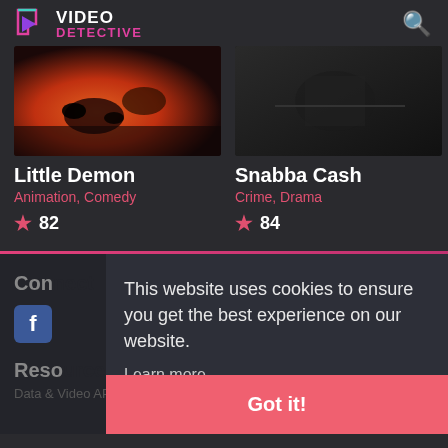[Figure (logo): Video Detective logo with triangle/play icon and text VIDEO DETECTIVE]
[Figure (photo): Little Demon show thumbnail - colorful dark image with oranges and blues]
Little Demon
Animation, Comedy
82
[Figure (photo): Snabba Cash show thumbnail - dark grayscale image]
Snabba Cash
Crime, Drama
84
Con
[Figure (logo): Facebook icon]
Reso
Data & Video API
Data & Video API
This website uses cookies to ensure you get the best experience on our website.
Learn more
Got it!